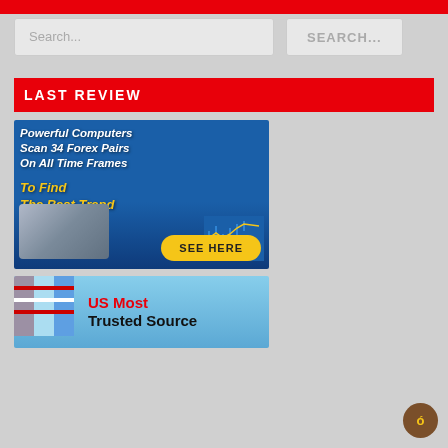SEARCH / REVIEW
Search...
SEARCH...
LAST REVIEW
[Figure (illustration): Advertisement banner: Powerful Computers Scan 34 Forex Pairs On All Time Frames To Find The Best Trend - SEE HERE button, with server and candlestick chart imagery on blue background]
[Figure (illustration): Advertisement banner: US Most Trusted Source - with American flag imagery on blue background]